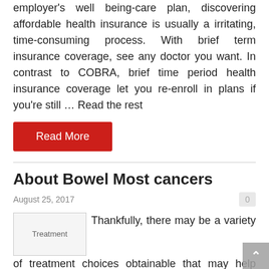employer's well being-care plan, discovering affordable health insurance is usually a irritating, time-consuming process. With brief term insurance coverage, see any doctor you want. In contrast to COBRA, brief time period health insurance coverage let you re-enroll in plans if you're still … Read the rest
Read More
About Bowel Most cancers
August 25, 2017
0
[Figure (photo): Treatment image placeholder]
Thankfully, there may be a variety of treatment choices obtainable that may help control ulcerative colitis (UC) as long as you start your treatment as prescribed. Generally there's the need